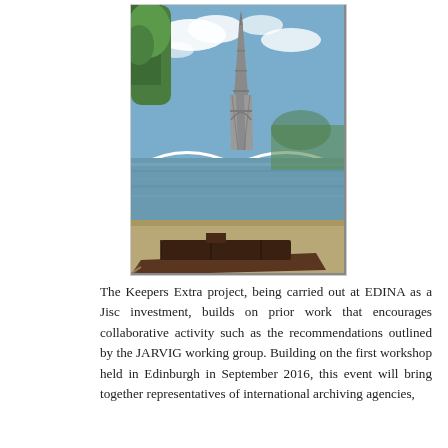[Figure (photo): Photograph of the Eiffel Tower in Paris viewed from the Seine river bank, with a white arched bridge crossing the river in the middle ground and a brown wooden barge/boat moored in the foreground on the right bank.]
The Keepers Extra project, being carried out at EDINA as a Jisc investment, builds on prior work that encourages collaborative activity such as the recommendations outlined by the JARVIG working group. Building on the first workshop held in Edinburgh in September 2016, this event will bring together representatives of international archiving agencies,